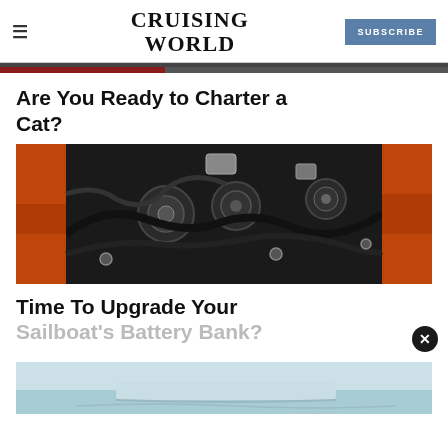CRUISING WORLD
Are You Ready to Charter a Cat?
[Figure (photo): Close-up photo of a sailboat engine compartment showing alternators, belts, hoses and mechanical components against orange hull walls]
Time To Upgrade Your Sailboat's Battery Bank?
[Figure (photo): Partial view of a sailboat on water, light blue tones, partially visible at bottom of page]